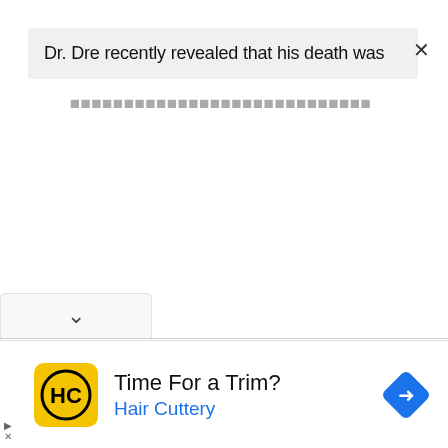Dr. Dre recently revealed that his death was
(partially visible continuation text)
[Figure (screenshot): Dropdown chevron tab area at bottom of content panel]
[Figure (screenshot): Advertisement banner: Time For a Trim? Hair Cuttery, with yellow HC logo and blue navigation arrow icon]